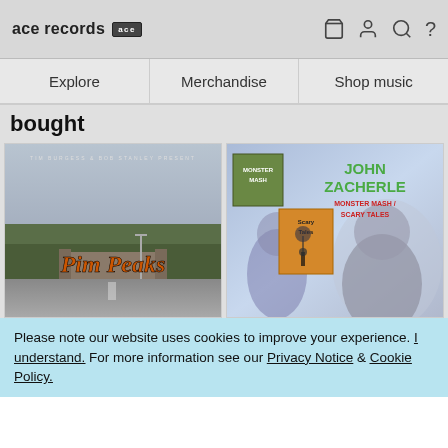ace records [ace logo] [cart icon] [user icon] [search icon] [?]
Explore  Merchandise  Shop music
bought
[Figure (photo): Album cover: Tim Burgess & Bob Stanley Present Pim Peaks - road/bridge scene with orange italic title text]
[Figure (photo): Album cover: John Zacherle - Monster Mash / Scary Tales - horror illustration with green title text and monster imagery]
Please note our website uses cookies to improve your experience. I understand. For more information see our Privacy Notice & Cookie Policy.